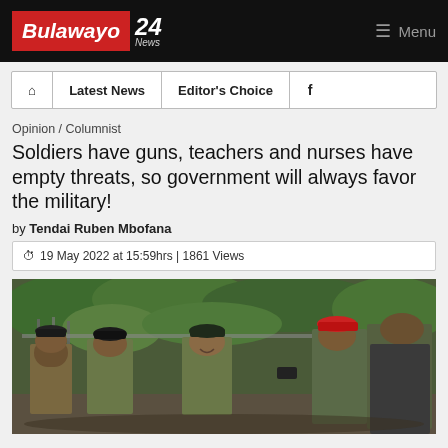Bulawayo 24 News | Menu
| Home | Latest News | Editor's Choice | Facebook |
| --- | --- | --- | --- |
Opinion / Columnist
Soldiers have guns, teachers and nurses have empty threats, so government will always favor the military!
by Tendai Ruben Mbofana
19 May 2022 at 15:59hrs | 1861 Views
[Figure (photo): Group of soldiers in military camouflage uniforms and berets standing together, with green foliage and metal railings in background.]